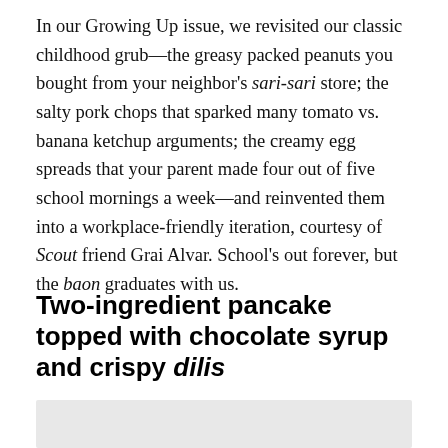In our Growing Up issue, we revisited our classic childhood grub—the greasy packed peanuts you bought from your neighbor's sari-sari store; the salty pork chops that sparked many tomato vs. banana ketchup arguments; the creamy egg spreads that your parent made four out of five school mornings a week—and reinvented them into a workplace-friendly iteration, courtesy of Scout friend Grai Alvar. School's out forever, but the baon graduates with us.
Two-ingredient pancake topped with chocolate syrup and crispy dilis
[Figure (photo): Partially visible image at bottom of page with light grey background]